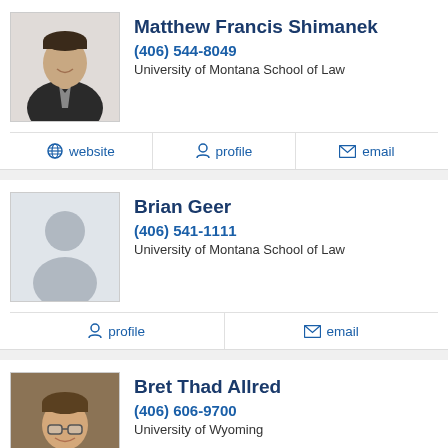[Figure (photo): Headshot photo of Matthew Francis Shimanek, a man in a suit, black and white]
Matthew Francis Shimanek
(406) 544-8049
University of Montana School of Law
website
profile
email
[Figure (illustration): Generic silhouette placeholder profile image for Brian Geer]
Brian Geer
(406) 541-1111
University of Montana School of Law
profile
email
[Figure (photo): Headshot photo of Bret Thad Allred, a man with glasses]
Bret Thad Allred
(406) 606-9700
University of Wyoming